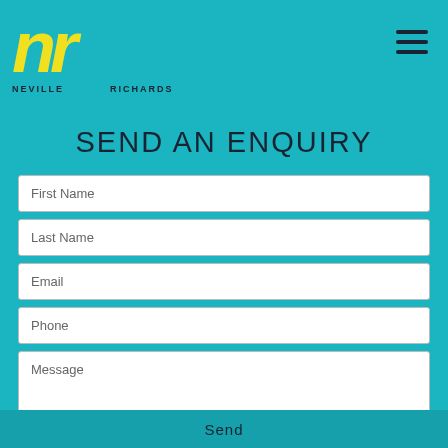NEVILLE RICHARDS — logo/navigation header
SEND AN ENQUIRY
First Name
Last Name
Email
Phone
Message
Send